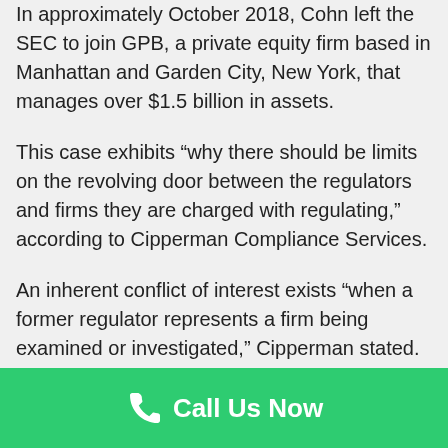In approximately October 2018, Cohn left the SEC to join GPB, a private equity firm based in Manhattan and Garden City, New York, that manages over $1.5 billion in assets.
This case exhibits “why there should be limits on the revolving door between the regulators and firms they are charged with regulating,” according to Cipperman Compliance Services.
An inherent conflict of interest exists “when a former regulator represents a firm being examined or investigated,” Cipperman stated.
Call Us Now